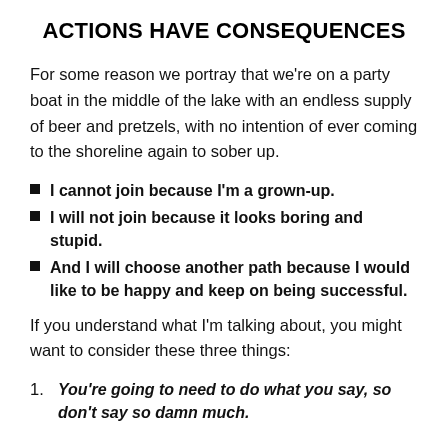ACTIONS HAVE CONSEQUENCES
For some reason we portray that we're on a party boat in the middle of the lake with an endless supply of beer and pretzels, with no intention of ever coming to the shoreline again to sober up.
I cannot join because I'm a grown-up.
I will not join because it looks boring and stupid.
And I will choose another path because I would like to be happy and keep on being successful.
If you understand what I'm talking about, you might want to consider these three things:
You're going to need to do what you say, so don't say so damn much.